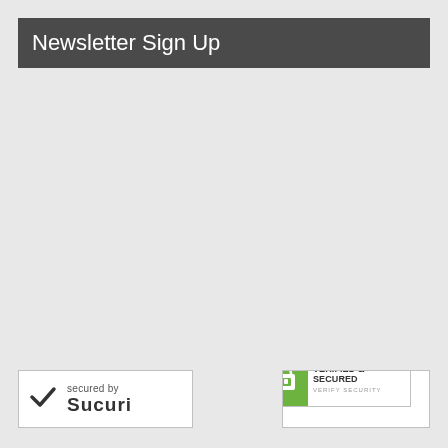Newsletter Sign Up
[Figure (logo): Sucuri security badge: checkmark icon on left, text 'secured by' above bold 'Sucuri' logo text, white background with grey border]
[Figure (logo): GoDaddy Verified & Secured badge: green lock icon on left, 'GODADDY' brand text in green, 'VERIFIED & SECURED' in bold, 'VERIFY SECURITY' below, white background with grey border, registration mark]